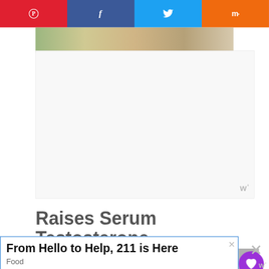[Figure (screenshot): Social sharing toolbar with Pinterest (red), Facebook (dark blue), Twitter (light blue), and Mix (orange) buttons]
[Figure (photo): Partial photo strip visible at top of content area]
[Figure (other): Advertisement placeholder area with watermark logo]
Raises Serum Testosterone
In men a raised Follicle Stimulating Hormone causes an increase in testosterone production. This increases sperm production and
[Figure (other): Heart/like button showing 1.7K likes and share button overlay]
[Figure (other): Bottom advertisement banner: 'From Hello to Help, 211 is Here' with Food subcategory label and close button]